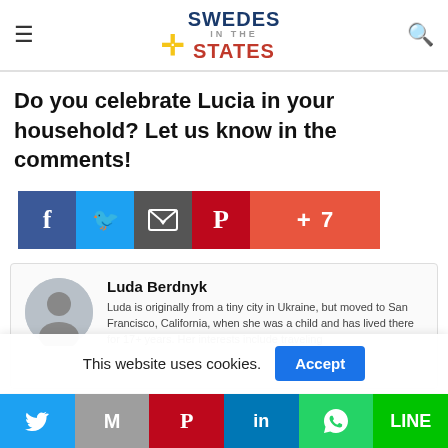Swedes in States
Do you celebrate Lucia in your household? Let us know in the comments!
[Figure (infographic): Social media share buttons: Facebook (blue), Twitter (light blue), Email (dark gray), Pinterest (red), Google+ with count 7 (orange-red)]
[Figure (infographic): Author card for Luda Berdnyk with avatar and bio text]
Luda Berdnyk
Luda is originally from a tiny city in Ukraine, but moved to San Francisco, California, when she was a child and has lived there for 17+ years. Her interests include traveling
This website uses cookies.
[Figure (infographic): Bottom social sharing bar with Twitter, Gmail, Pinterest, LinkedIn, WhatsApp, Line icons]